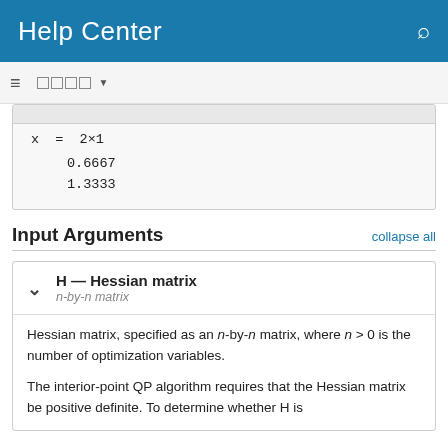Help Center
Input Arguments
collapse all
H — Hessian matrix
n-by-n matrix
Hessian matrix, specified as an n-by-n matrix, where n > 0 is the number of optimization variables.
The interior-point QP algorithm requires that the Hessian matrix be positive definite. To determine whether H is